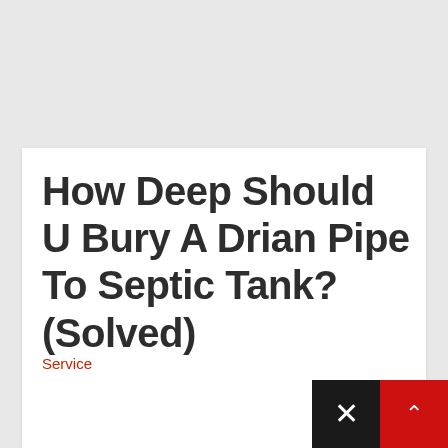How Deep Should U Bury A Drian Pipe To Septic Tank? (Solved)
Service